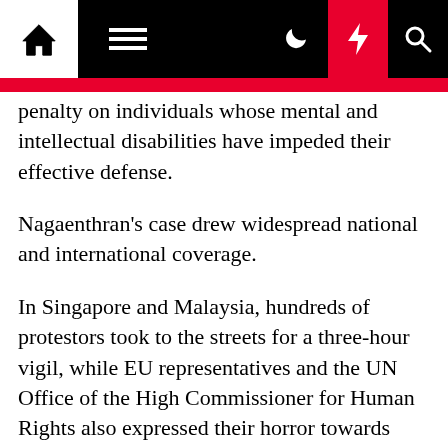Navigation bar with home, menu, moon, lightning, and search icons
penalty on individuals whose mental and intellectual disabilities have impeded their effective defense.
Nagaenthran's case drew widespread national and international coverage.
In Singapore and Malaysia, hundreds of protestors took to the streets for a three-hour vigil, while EU representatives and the UN Office of the High Commissioner for Human Rights also expressed their horror towards what has been described as a "disgraceful act" and "shocking case" by Amnesty International.
Celebrities including the likes of Stephen Fry and Richard Branson issued a public appeal for clemency to Singapore President Halimah Yacob and Prime Minister Lee Hsien Loong, citing